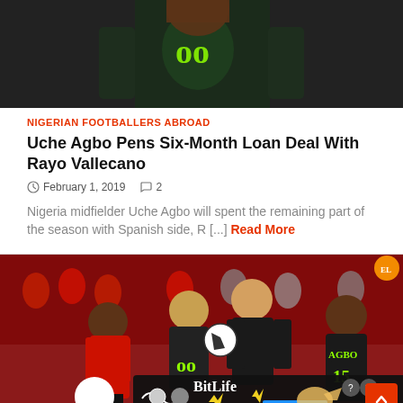[Figure (photo): Top portion of a soccer player in a dark green jersey with neon green number, cropped showing torso and lower body]
NIGERIAN FOOTBALLERS ABROAD
Uche Agbo Pens Six-Month Loan Deal With Rayo Vallecano
February 1, 2019   2
Nigeria midfielder Uche Agbo will spent the remaining part of the season with Spanish side,  R [...] Read More
[Figure (photo): Soccer match photo showing players including Agbo (number 5 in dark jersey) competing in a Europa League match against a team in red jerseys, with a crowd in the background. An advertisement banner for BitLife with GOD MODE is overlaid at the bottom.]